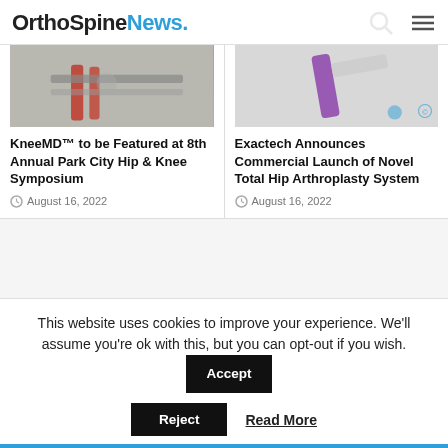OrthoSpineNews.
[Figure (photo): Medical device/instrument photo - red and metallic surgical tools]
KneeMD™ to be Featured at 8th Annual Park City Hip & Knee Symposium
August 16, 2022
[Figure (photo): Purple-tipped medical instrument on white background]
Exactech Announces Commercial Launch of Novel Total Hip Arthroplasty System
August 16, 2022
[Figure (other): Advertisement block - empty gray area]
This website uses cookies to improve your experience. We'll assume you're ok with this, but you can opt-out if you wish.
Accept
Reject
Read More